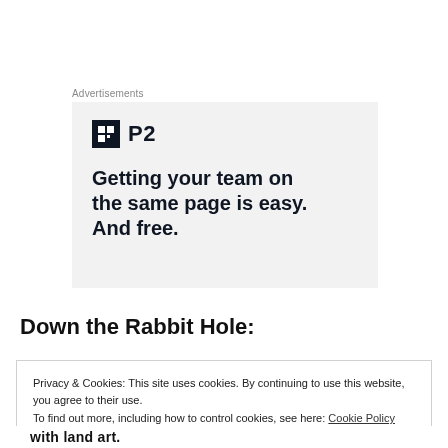Advertisements
[Figure (other): Advertisement for P2 product with logo and headline: Getting your team on the same page is easy. And free.]
Down the Rabbit Hole:
Privacy & Cookies: This site uses cookies. By continuing to use this website, you agree to their use.
To find out more, including how to control cookies, see here: Cookie Policy
with land art.